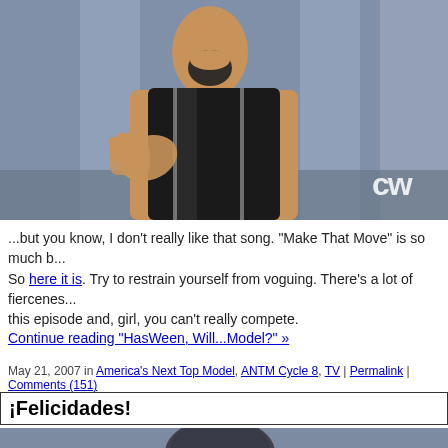[Figure (photo): Screenshot from The CW TV show featuring a woman with mouth open, wearing a black outfit, gesturing with her hand. CW network logo visible in bottom right corner.]
...but you know, I don't really like that song. "Make That Move" is so much b... So here it is. Try to restrain yourself from voguing. There's a lot of fiercenes... this episode and, girl, you can't really compete.
Continue reading "HasWeen, Will...Model?" »
May 21, 2007 in America's Next Top Model, ANTM Cycle 8, TV | Permalink | Comments (151)
¡Felicidades!
[Figure (photo): Partial screenshot from a TV show, showing the top of a person's head with dark hair against a blue/gray background.]